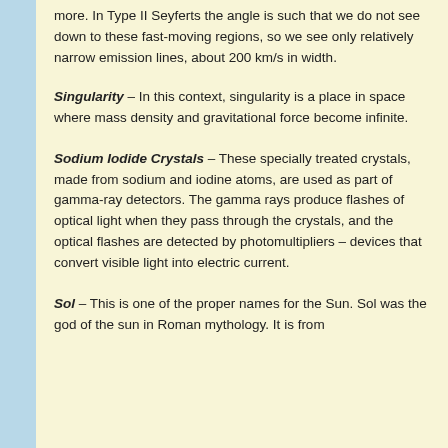more. In Type II Seyferts the angle is such that we do not see down to these fast-moving regions, so we see only relatively narrow emission lines, about 200 km/s in width.
Singularity – In this context, singularity is a place in space where mass density and gravitational force become infinite.
Sodium Iodide Crystals – These specially treated crystals, made from sodium and iodine atoms, are used as part of gamma-ray detectors. The gamma rays produce flashes of optical light when they pass through the crystals, and the optical flashes are detected by photomultipliers – devices that convert visible light into electric current.
Sol – This is one of the proper names for the Sun. Sol was the god of the sun in Roman mythology. It is from